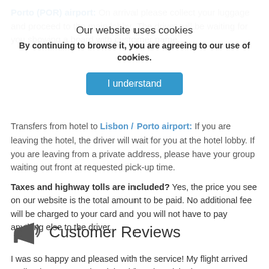Porto (POR) airport: On arrival please collect your luggage and proceed to the main lobby. The driver will be waiting for you showing a board with customer name.
Our website uses cookies
By continuing to browse it, you are agreeing to our use of cookies.
I understand
Transfers from hotel to Lisbon / Porto airport: If you are leaving the hotel, the driver will wait for you at the hotel lobby. If you are leaving from a private address, please have your group waiting out front at requested pick-up time.
Taxes and highway tolls are included? Yes, the price you see on our website is the total amount to be paid. No additional fee will be charged to your card and you will not have to pay anything else to the driver.
Customer Reviews
I was so happy and pleased with the service! My flight arrived earlier than expected and the driver that picked me up was already there waiting for me. Smooth trip, I arrived early in the morning and it was rush hour and we made it to city centre in 50 minutes. The driver was very professional...